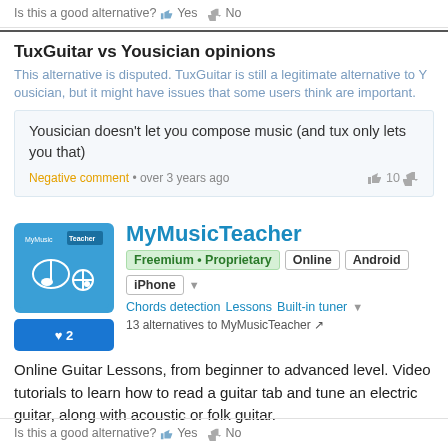Is this a good alternative? Yes No
TuxGuitar vs Yousician opinions
This alternative is disputed. TuxGuitar is still a legitimate alternative to Yousician, but it might have issues that some users think are important.
Yousician doesn't let you compose music (and tux only lets you that)
Negative comment • over 3 years ago  10
MyMusicTeacher
Freemium • Proprietary  Online  Android  iPhone  Chords detection  Lessons  Built-in tuner  13 alternatives to MyMusicTeacher
Online Guitar Lessons, from beginner to advanced level. Video tutorials to learn how to read a guitar tab and tune an electric guitar, along with acoustic or folk guitar.
Is this a good alternative? Yes No